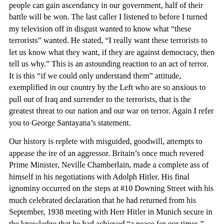people can gain ascendancy in our government, half of their battle will be won. The last caller I listened to before I turned my television off in disgust wanted to know what “these terrorists” wanted. He stated, “I really want these terrorists to let us know what they want, if they are against democracy, then tell us why.” This is an astounding reaction to an act of terror. It is this “if we could only understand them” attitude, exemplified in our country by the Left who are so anxious to pull out of Iraq and surrender to the terrorists, that is the greatest threat to our nation and our war on terror. Again I refer you to George Santayana’s statement.
Our history is replete with misguided, goodwill, attempts to appease the ire of an aggressor. Britain’s once much revered Prime Minister, Neville Chamberlain, made a complete ass of himself in his negotiations with Adolph Hitler. His final ignominy occurred on the steps at #10 Downing Street with his much celebrated declaration that he had returned from his September, 1938 meeting with Herr Hitler in Munich secure in the knowledge that he had achieved “a peace for our times.” Hitler invaded Czechoslovakia less than six months later. Chamberlain’s efforts failed because he negotiated from a position of appeasement rather than from one of strength. The fault in this strategy lies in the absurd assumption that through understanding or generosity there is something you can give the terrorist that will in someway abate his hatred and cause him to rationally reexamine his actions and cease his hostility. People, there is no rationality in hatred. It is an emotion